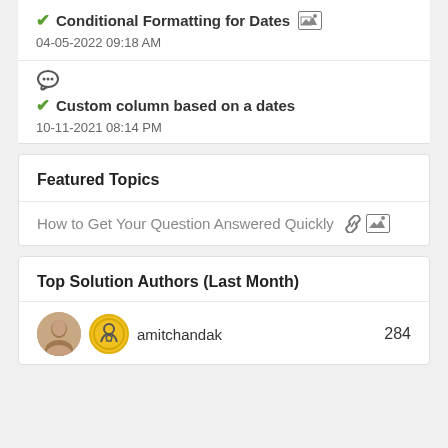Conditional Formatting for Dates
04-05-2022 09:18 AM
Custom column based on a dates
10-11-2021 08:14 PM
Featured Topics
How to Get Your Question Answered Quickly
Top Solution Authors (Last Month)
amitchandak 284